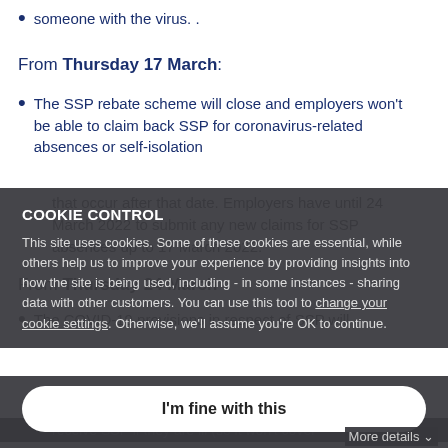self-isolate if they are in close contact with someone with the virus. .
From Thursday 17 March:
The SSP rebate scheme will close and employers won't be able to claim back SSP for coronavirus-related absences or self-isolation that occur after that date. Employers have until 24 March 2022 to submit any new claims for SSP absences up to 17 March 2022.
From Thursday 24 March
The COVID-19 provisions in respect of SSP will receive SSP if they are ill (so it won't cover precautionary self-isolation) and anyone who is ill with the virus will have to wait until they have
COOKIE CONTROL
This site uses cookies. Some of these cookies are essential, while others help us to improve your experience by providing insights into how the site is being used, including - in some instances - sharing data with other customers. You can use this tool to change your cookie settings. Otherwise, we'll assume you're OK to continue.
I'm fine with this
More details